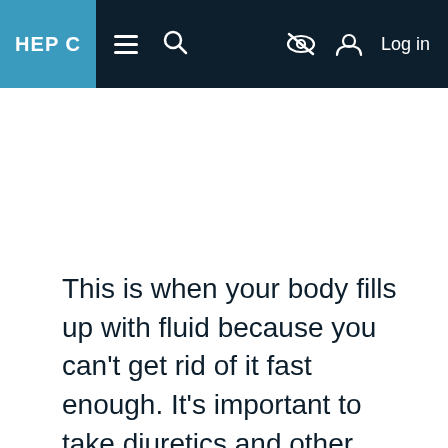HEP C [navigation bar with logo, menu, search, hide, and log in icons]
This is when your body fills up with fluid because you can't get rid of it fast enough. It's important to take diuretics and other meds prescribed by your doctor. Eating a low